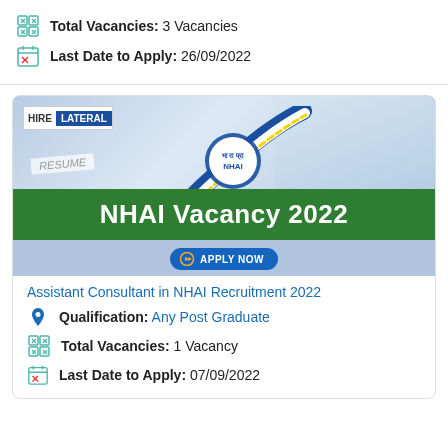Total Vacancies: 3 Vacancies
Last Date to Apply: 26/09/2022
[Figure (infographic): NHAI Vacancy 2022 recruitment banner with HireLateral logo, NHAI road logo, resume graphic, green banner with white text 'NHAI Vacancy 2022', and blue 'APPLY NOW' button]
Assistant Consultant in NHAI Recruitment 2022
Qualification: Any Post Graduate
Total Vacancies: 1 Vacancy
Last Date to Apply: 07/09/2022